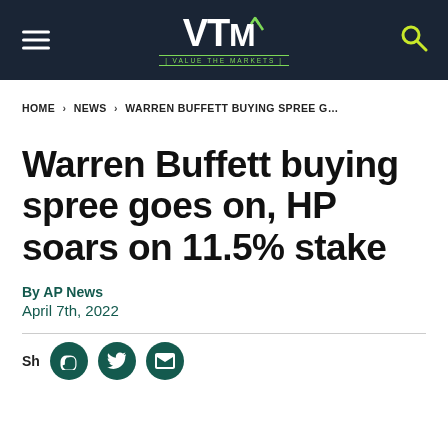VTM | VALUE THE MARKETS
HOME > NEWS > WARREN BUFFETT BUYING SPREE G...
Warren Buffett buying spree goes on, HP soars on 11.5% stake
By AP News
April 7th, 2022